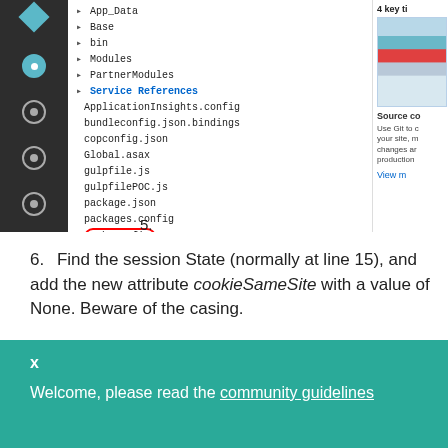[Figure (screenshot): Visual Studio Code file explorer showing project files including App_Data, Base, bin, Modules, PartnerModules, Service References, ApplicationInsights.config, bundleconfig.json.bindings, copconfig.json, Global.asax, gulpfile.js, gulpfilePOC.js, package.json, packages.config, Web.config (circled in red), WebPartner.config. Partial right panel shows source control tips.]
5.
6. Find the session State (normally at line 15), and add the new attribute cookieSameSite with a value of None. Beware of the casing.
[Figure (screenshot): Code editor screenshot showing Web.config XML code with session state configuration and cookieSameSite attribute highlighted]
x
Welcome, please read the community guidelines